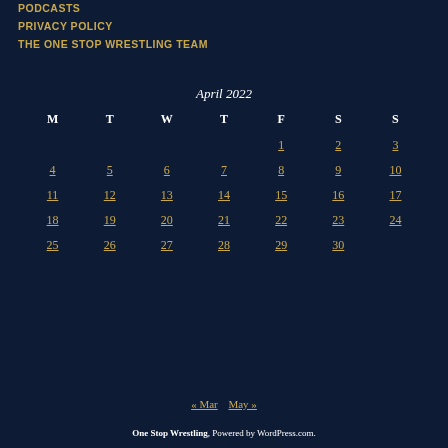PODCASTS
PRIVACY POLICY
THE ONE STOP WRESTLING TEAM
April 2022
| M | T | W | T | F | S | S |
| --- | --- | --- | --- | --- | --- | --- |
|  |  |  |  | 1 | 2 | 3 |
| 4 | 5 | 6 | 7 | 8 | 9 | 10 |
| 11 | 12 | 13 | 14 | 15 | 16 | 17 |
| 18 | 19 | 20 | 21 | 22 | 23 | 24 |
| 25 | 26 | 27 | 28 | 29 | 30 |  |
« Mar   May »
One Stop Wrestling, Powered by WordPress.com.